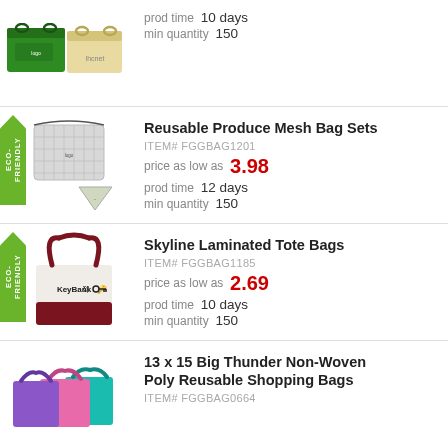[Figure (photo): Top partial product row showing green and tan reusable shopping bags with prod time 10 days and min quantity 150]
prod time  10 days
min quantity  150
[Figure (photo): Eco-friendly badge and product image of Reusable Produce Mesh Bag Sets - grey mesh drawstring bags]
Reusable Produce Mesh Bag Sets
ITEM# FGGBAG1201
price as low as  3.98
prod time  12 days
min quantity  150
[Figure (photo): Eco-friendly badge and product image of Skyline Laminated Tote Bags - white and dark red tote with KeyBank logo]
Skyline Laminated Tote Bags
ITEM# FGGBAG1185
price as low as  2.69
prod time  10 days
min quantity  150
[Figure (photo): Product image of colorful non-woven tote bags in pink, purple, teal]
13 x 15 Big Thunder Non-Woven Poly Reusable Shopping Bags
ITEM# FGGBAG0664